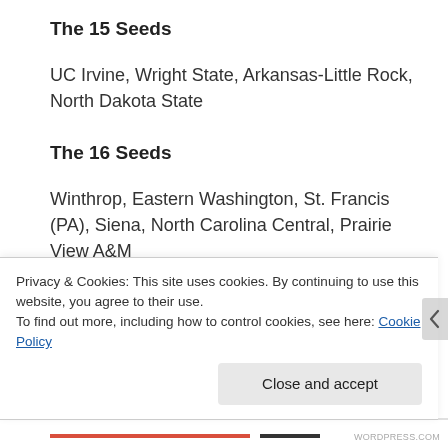The 15 Seeds
UC Irvine, Wright State, Arkansas-Little Rock, North Dakota State
The 16 Seeds
Winthrop, Eastern Washington, St. Francis (PA), Siena, North Carolina Central, Prairie View A&M
Privacy & Cookies: This site uses cookies. By continuing to use this website, you agree to their use.
To find out more, including how to control cookies, see here: Cookie Policy